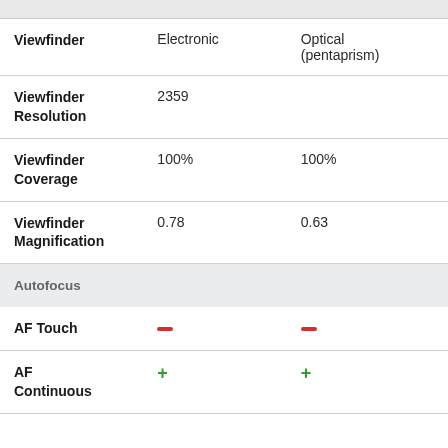| Feature | Camera 1 | Camera 2 |
| --- | --- | --- |
| Viewfinder | Electronic | Optical (pentaprism) |
| Viewfinder Resolution | 2359 |  |
| Viewfinder Coverage | 100% | 100% |
| Viewfinder Magnification | 0.78 | 0.63 |
| Autofocus |  |  |
| AF Touch | — | — |
| AF Continuous | + | + |